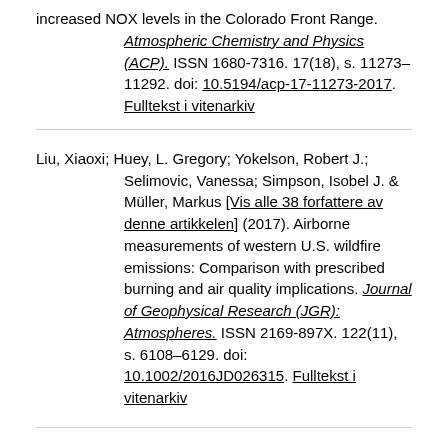increased NOX levels in the Colorado Front Range. Atmospheric Chemistry and Physics (ACP). ISSN 1680-7316. 17(18), s. 11273–11292. doi: 10.5194/acp-17-11273-2017. Fulltekst i vitenarkiv
Liu, Xiaoxi; Huey, L. Gregory; Yokelson, Robert J.; Selimovic, Vanessa; Simpson, Isobel J. & Müller, Markus [Vis alle 38 forfattere av denne artikkelen] (2017). Airborne measurements of western U.S. wildfire emissions: Comparison with prescribed burning and air quality implications. Journal of Geophysical Research (JGR): Atmospheres. ISSN 2169-897X. 122(11), s. 6108–6129. doi: 10.1002/2016JD026315. Fulltekst i vitenarkiv
Lakey, PSJ; Wisthaler, Armin; Berkemeier, T; Mikoviny, Tomas; Poschl, U & Shiraiwa, M. (2017). Chemical